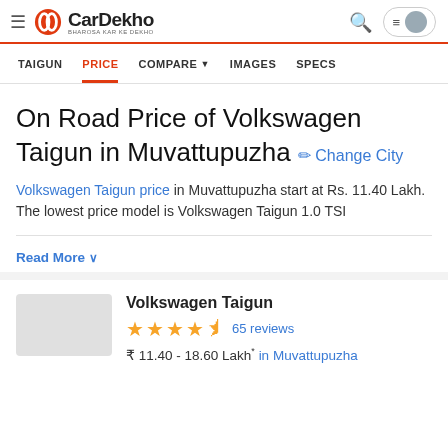CarDekho - BHAROSA KAR KE DEKHO
TAIGUN | PRICE | COMPARE | IMAGES | SPECS
On Road Price of Volkswagen Taigun in Muvattupuzha
Volkswagen Taigun price in Muvattupuzha start at Rs. 11.40 Lakh. The lowest price model is Volkswagen Taigun 1.0 TSI
Read More
Volkswagen Taigun
4.5 stars · 65 reviews
₹ 11.40 - 18.60 Lakh* in Muvattupuzha